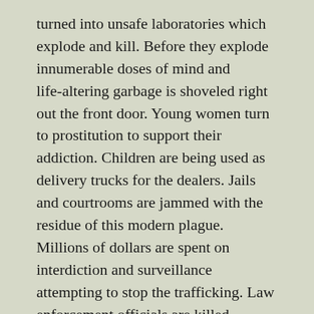turned into unsafe laboratories which explode and kill. Before they explode innumerable doses of mind and life-altering garbage is shoveled right out the front door. Young women turn to prostitution to support their addiction. Children are being used as delivery trucks for the dealers. Jails and courtrooms are jammed with the residue of this modern plague. Millions of dollars are spent on interdiction and surveillance attempting to stop the trafficking. Law enforcement officials are killed. Families are broken. Children are thrown away. Public safety is eroded. It has to stop.